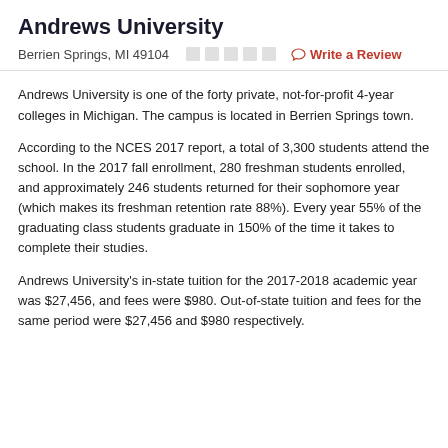Andrews University
Berrien Springs, MI 49104   ☆☆☆☆☆   Write a Review
Andrews University is one of the forty private, not-for-profit 4-year colleges in Michigan. The campus is located in Berrien Springs town.
According to the NCES 2017 report, a total of 3,300 students attend the school. In the 2017 fall enrollment, 280 freshman students enrolled, and approximately 246 students returned for their sophomore year (which makes its freshman retention rate 88%). Every year 55% of the graduating class students graduate in 150% of the time it takes to complete their studies.
Andrews University's in-state tuition for the 2017-2018 academic year was $27,456, and fees were $980. Out-of-state tuition and fees for the same period were $27,456 and $980 respectively.